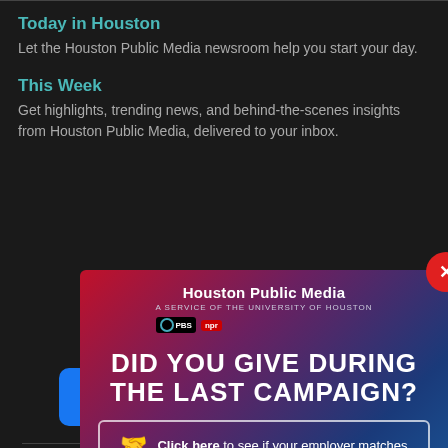Today in Houston
Let the Houston Public Media newsroom help you start your day.
This Week
Get highlights, trending news, and behind-the-scenes insights from Houston Public Media, delivered to your inbox.
[Figure (infographic): Houston Public Media modal advertisement with gradient red-to-blue background. Contains logo, PBS and NPR badges, headline 'DID YOU GIVE DURING THE LAST CAMPAIGN?', and a CTA button 'Click here to see if your employer matches'. Red X close button in top right.]
4343 Elgin, Houston, TX 77204-0008
[Figure (logo): Row of five social media icons: Facebook (blue), Twitter (blue), Instagram (gradient), YouTube (red), LinkedIn (blue)]
Houston Public Media is supported with your gifts to